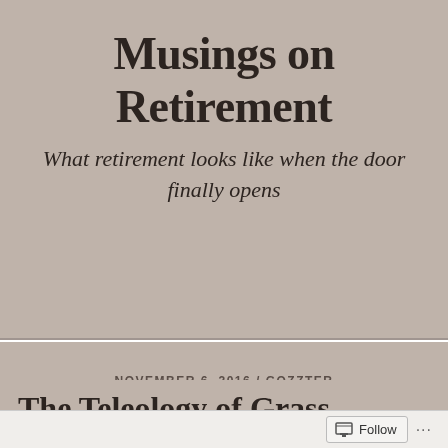Musings on Retirement
What retirement looks like when the door finally opens
NOVEMBER 6, 2016 / GOZZTER
The Teleology of Grass
Follow ...